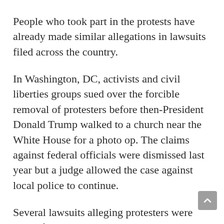People who took part in the protests have already made similar allegations in lawsuits filed across the country.
In Washington, DC, activists and civil liberties groups sued over the forcible removal of protesters before then-President Donald Trump walked to a church near the White House for a photo op. The claims against federal officials were dismissed last year but a judge allowed the case against local police to continue.
Several lawsuits alleging protesters were wrongfully arrested or that police used excessive force have been filed against New York City and its police department, including one brought by New York Attorney General Letitia James that claims police